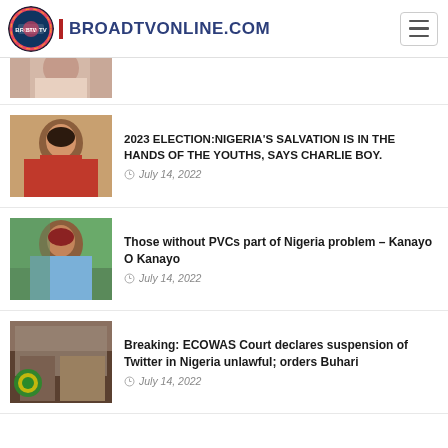BROADTVONLINE.COM
[Figure (photo): Partial thumbnail of a person, cropped at top]
2023 ELECTION:NIGERIA'S SALVATION IS IN THE HANDS OF THE YOUTHS, SAYS CHARLIE BOY.
July 14, 2022
Those without PVCs part of Nigeria problem – Kanayo O Kanayo
July 14, 2022
Breaking: ECOWAS Court declares suspension of Twitter in Nigeria unlawful; orders Buhari
July 14, 2022